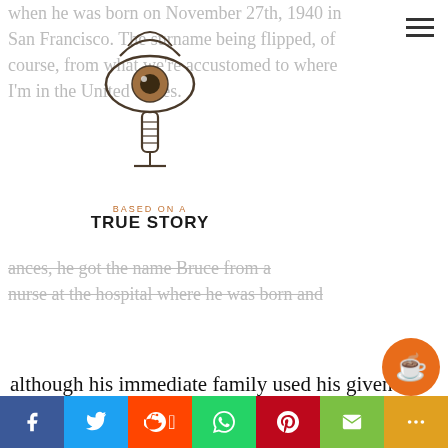[Figure (logo): Based on a True Story podcast logo with eye and microphone graphic]
when he was born on November 27th, 1940 in San Francisco. The surname being flipped, of course, from what we're accustomed to where I'm in the United States.
...ances, he got the name Bruce from a nurse at the hospital where he was born and although his immediate family used his given name as a child, obviously we know him as
We use cookies on our website to give you the most relevant experience by remembering your preferences and repeat visits. By clicking "Accept", you consent to the use of ALL the cookies.
...mother was ...g to was his ...se, well, we ...heritage. We ...he was ...ang pa...
Request an Episode
f  Twitter  Reddit  WhatsApp  Pinterest  Email  More